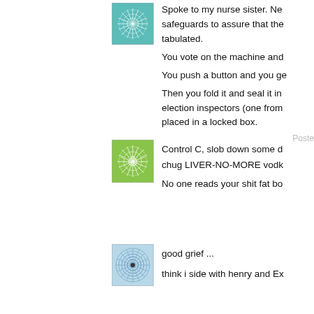[Figure (illustration): Teal/cyan colored avatar with snowflake/mandala pattern, square with border]
Spoke to my nurse sister. Ne safeguards to assure that the tabulated.
You vote on the machine and
You push a button and you ge
Then you fold it and seal it in election inspectors (one from placed in a locked box.
Poste
[Figure (illustration): Green colored avatar with snowflake/mandala/geometric pattern, square with border]
Control C, slob down some d chug LIVER-NO-MORE vodk
No one reads your shit fat bo
[Figure (illustration): Light blue avatar with circular spirograph/mandala pattern and dark center dot, square with border]
good grief ...
think i side with henry and Ex